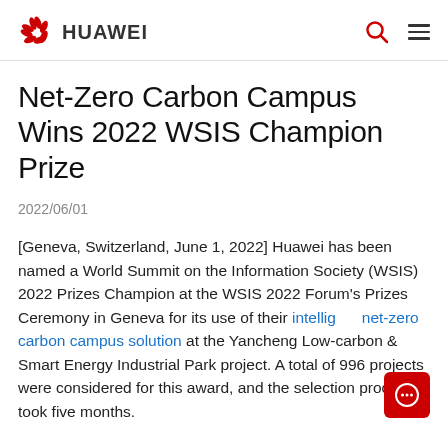HUAWEI
Net-Zero Carbon Campus Wins 2022 WSIS Champion Prize
2022/06/01
[Geneva, Switzerland, June 1, 2022] Huawei has been named a World Summit on the Information Society (WSIS) 2022 Prizes Champion at the WSIS 2022 Forum's Prizes Ceremony in Geneva for its use of their intelligent net-zero carbon campus solution at the Yancheng Low-carbon & Smart Energy Industrial Park project. A total of 996 projects were considered for this award, and the selection process took five months.